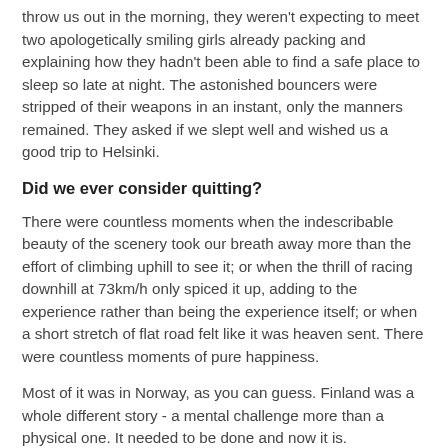throw us out in the morning, they weren't expecting to meet two apologetically smiling girls already packing and explaining how they hadn't been able to find a safe place to sleep so late at night. The astonished bouncers were stripped of their weapons in an instant, only the manners remained. They asked if we slept well and wished us a good trip to Helsinki.
Did we ever consider quitting?
There were countless moments when the indescribable beauty of the scenery took our breath away more than the effort of climbing uphill to see it; or when the thrill of racing downhill at 73km/h only spiced it up, adding to the experience rather than being the experience itself; or when a short stretch of flat road felt like it was heaven sent. There were countless moments of pure happiness.
Most of it was in Norway, as you can guess. Finland was a whole different story - a mental challenge more than a physical one. It needed to be done and now it is.